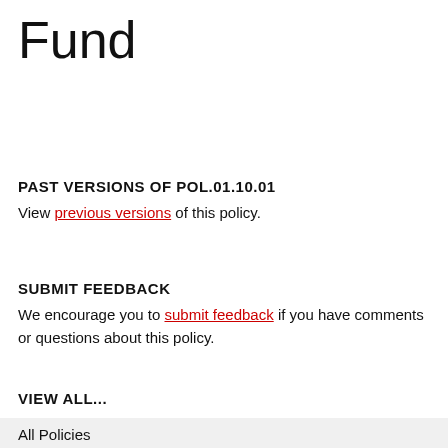Fund
PAST VERSIONS OF POL.01.10.01
View previous versions of this policy.
SUBMIT FEEDBACK
We encourage you to submit feedback if you have comments or questions about this policy.
VIEW ALL...
All Policies